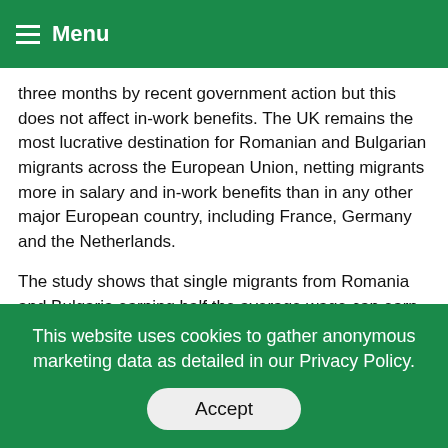Menu
three months by recent government action but this does not affect in-work benefits. The UK remains the most lucrative destination for Romanian and Bulgarian migrants across the European Union, netting migrants more in salary and in-work benefits than in any other major European country, including France, Germany and the Netherlands.
The study shows that single migrants from Romania and Bulgaria earning half the average wage can earn five times more in the UK than they can at home, a wage topped up by the UK’s generous tax credit system for low earners. This compares to France Germany and Ireland where wages are four times higher, meaning that migrants...
A worker with a spouse and children on half the average wage in Romania or Bulgaria would be three times better off in Spain or Italy but six times better off
This website uses cookies to gather anonymous marketing data as detailed in our Privacy Policy.